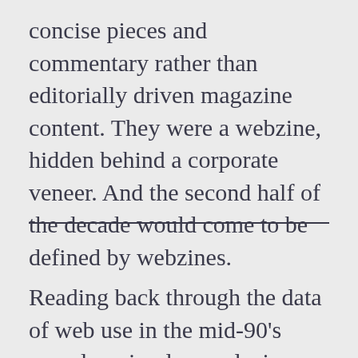concise pieces and commentary rather than editorially driven magazine content. They were a webzine, hidden behind a corporate veneer. And the second half of the decade would come to be defined by webzines.
Reading back through the data of web use in the mid-90's reveals a simple conclusion.